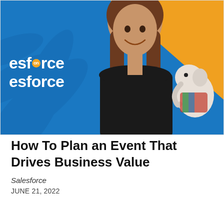[Figure (photo): A smiling woman with long brown hair holding a white stuffed elephant toy, set against a blue and orange background with the Salesforce on Salesforce branding text visible on the left side.]
How To Plan an Event That Drives Business Value
Salesforce
JUNE 21, 2022